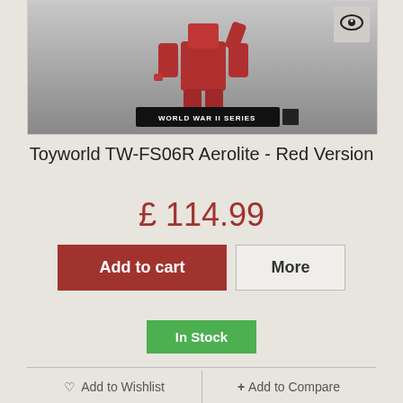[Figure (photo): Product photo of Toyworld TW-FS06R Aerolite Red Version toy figure with 'World War II Series' badge]
Toyworld TW-FS06R Aerolite - Red Version
£ 114.99
Add to cart
More
In Stock
♡ Add to Wishlist
+ Add to Compare
[Figure (photo): Photo of a grey Megatron-style robot figure with cannon and purple fusion cannon, holding a chain]